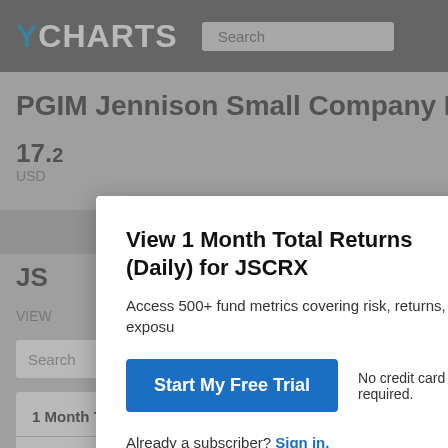YCHARTS
PGIM Jennison Small Company R (JSCRX)
17. USD
JS
VIEW
Search
1 Month Total Returns (Daily) Chart
View 1 Month Total Returns (Daily) for JSCRX
Access 500+ fund metrics covering risk, returns, exposu
Start My Free Trial
No credit card required.
Already a subscriber? Sign in.